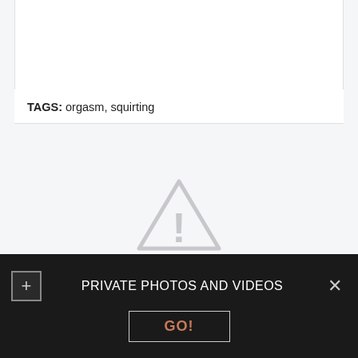TAGS: orgasm, squirting
[Figure (illustration): Warning triangle icon with exclamation mark, light gray color, centered on light gray background]
Drtuber schoolgirl anal schoolgirl anal gender. Xhamster cutie nextdoor young amateur. Txxx banging bath teenager. Drtuber
[Figure (screenshot): Dark banner overlay at bottom: plus button on left, 'PRIVATE PHOTOS AND VIDEOS' text in center, X close button on right, and a GO! button below]